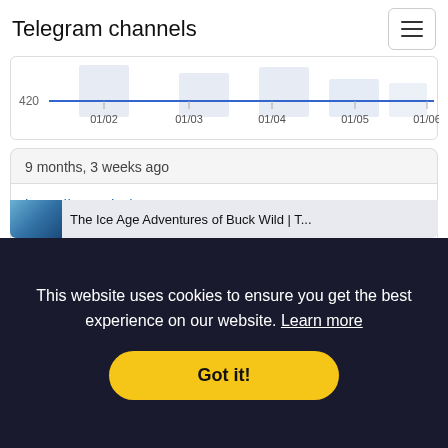Telegram channels
[Figure (line-chart): Line chart]
9 months, 3 weeks ago
https://youtu.be/0vPHYRJtLYE
YouTube
The Ice Age Adventures of Buck Wild | Teaser Trailer | Disney+
The Ice Age Adventures of Buck Wild | Teaser Trailer | Disney+ ... This website uses cookies to ensure you get the best experience on our website. Learn more Got it!
The Ice Age Adventures of Buck Wild | T...